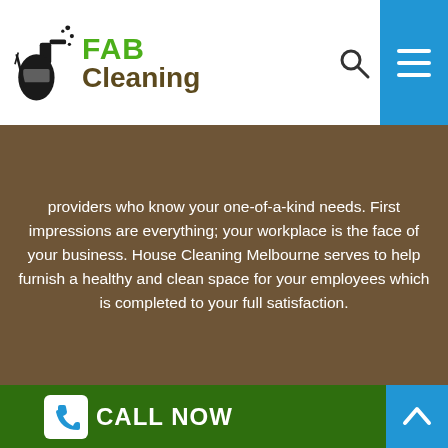[Figure (logo): FAB Cleaning logo with spray bottle icon, green FAB text and brown Cleaning text]
providers who know your one-of-a-kind needs. First impressions are everything; your workplace is the face of your business. House Cleaning Melbourne serves to help furnish a healthy and clean space for your employees which is completed to your full satisfaction.
[Figure (illustration): White hand/glove icon on green background]
MOVE IN/OUT
CALL NOW